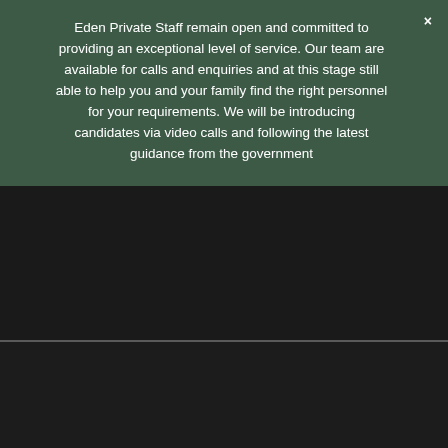Eden Private Staff remain open and committed to providing an exceptional level of service. Our team are available for calls and enquiries and at this stage still able to help you and your family find the right personnel for your requirements. We will be introducing candidates via video calls and following the latest guidance from the government